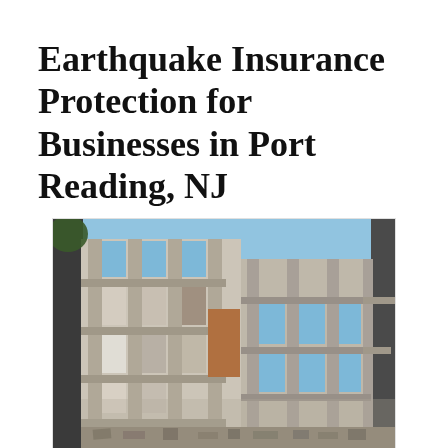Earthquake Insurance Protection for Businesses in Port Reading, NJ
[Figure (photo): Photograph of a severely earthquake-damaged multi-story commercial building with exposed concrete frame, missing walls and floors, rubble at the base, under a blue sky.]